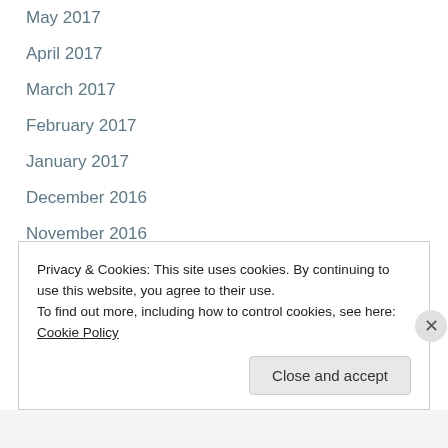May 2017
April 2017
March 2017
February 2017
January 2017
December 2016
November 2016
October 2016
September 2016
August 2016
July 2016
Privacy & Cookies: This site uses cookies. By continuing to use this website, you agree to their use. To find out more, including how to control cookies, see here: Cookie Policy